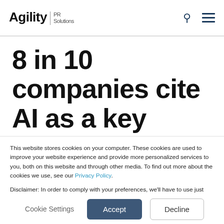Agility PR Solutions
8 in 10 companies cite AI as a key
This website stores cookies on your computer. These cookies are used to improve your website experience and provide more personalized services to you, both on this website and through other media. To find out more about the cookies we use, see our Privacy Policy.

Disclaimer: In order to comply with your preferences, we'll have to use just one cookie so that you're not asked to make this choice again.
Cookie Settings | Accept | Decline